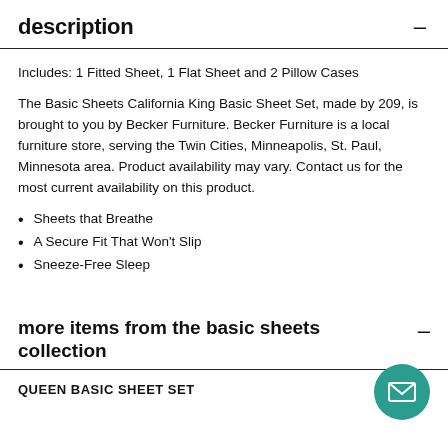description
Includes: 1 Fitted Sheet, 1 Flat Sheet and 2 Pillow Cases
The Basic Sheets California King Basic Sheet Set, made by 209, is brought to you by Becker Furniture. Becker Furniture is a local furniture store, serving the Twin Cities, Minneapolis, St. Paul, Minnesota area. Product availability may vary. Contact us for the most current availability on this product.
Sheets that Breathe
A Secure Fit That Won't Slip
Sneeze-Free Sleep
more items from the basic sheets collection
QUEEN BASIC SHEET SET